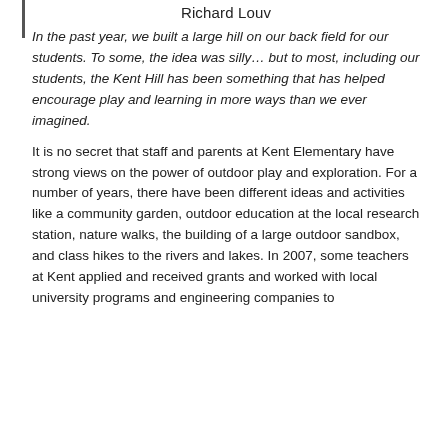Richard Louv
In the past year, we built a large hill on our back field for our students. To some, the idea was silly… but to most, including our students, the Kent Hill has been something that has helped encourage play and learning in more ways than we ever imagined.
It is no secret that staff and parents at Kent Elementary have strong views on the power of outdoor play and exploration. For a number of years, there have been different ideas and activities like a community garden, outdoor education at the local research station, nature walks, the building of a large outdoor sandbox, and class hikes to the rivers and lakes. In 2007, some teachers at Kent applied and received grants and worked with local university programs and engineering companies to